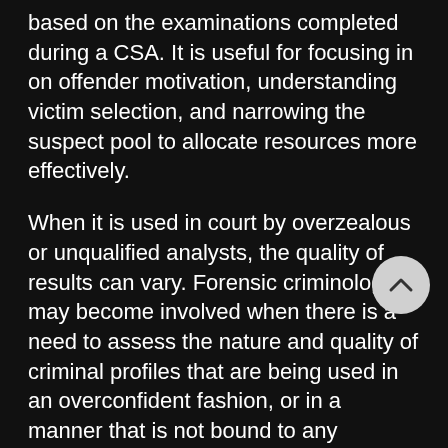based on the examinations completed during a CSA. It is useful for focusing in on offender motivation, understanding victim selection, and narrowing the suspect pool to allocate resources more effectively.
When it is used in court by overzealous or unqualified analysts, the quality of results can vary. Forensic criminologists may become involved when there is a need to assess the nature and quality of criminal profiles that are being used in an overconfident fashion, or in a manner that is not bound to any scientific literature and established protocols.
4. Case Linkage
Case linkage...